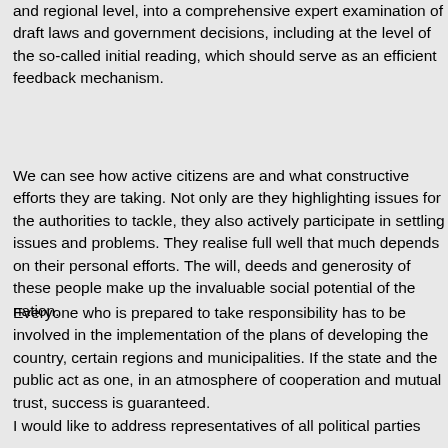and regional level, into a comprehensive expert examination of draft laws and government decisions, including at the level of the so-called initial reading, which should serve as an efficient feedback mechanism.
We can see how active citizens are and what constructive efforts they are taking. Not only are they highlighting issues for the authorities to tackle, they also actively participate in settling issues and problems. They realise full well that much depends on their personal efforts. The will, deeds and generosity of these people make up the invaluable social potential of the nation.
Everyone who is prepared to take responsibility has to be involved in the implementation of the plans of developing the country, certain regions and municipalities. If the state and the public act as one, in an atmosphere of cooperation and mutual trust, success is guaranteed.
I would like to address representatives of all political parties